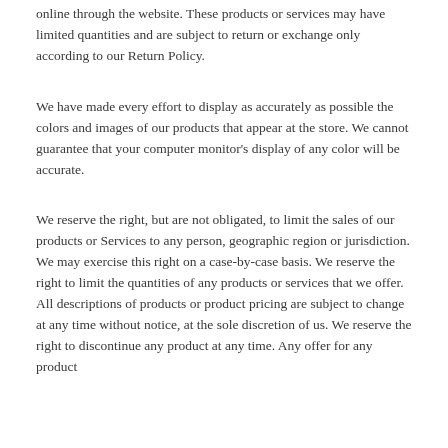online through the website. These products or services may have limited quantities and are subject to return or exchange only according to our Return Policy.
We have made every effort to display as accurately as possible the colors and images of our products that appear at the store. We cannot guarantee that your computer monitor's display of any color will be accurate.
We reserve the right, but are not obligated, to limit the sales of our products or Services to any person, geographic region or jurisdiction. We may exercise this right on a case-by-case basis. We reserve the right to limit the quantities of any products or services that we offer. All descriptions of products or product pricing are subject to change at any time without notice, at the sole discretion of us. We reserve the right to discontinue any product at any time. Any offer for any product